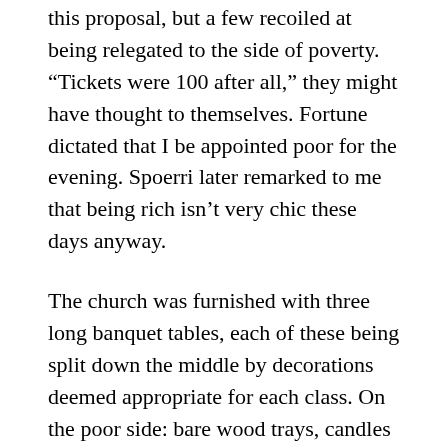this proposal, but a few recoiled at being relegated to the side of poverty. “Tickets were 100 after all,” they might have thought to themselves. Fortune dictated that I be appointed poor for the evening. Spoerri later remarked to me that being rich isn’t very chic these days anyway.
The church was furnished with three long banquet tables, each of these being split down the middle by decorations deemed appropriate for each class. On the poor side: bare wood trays, candles in wine bottles, paper napkins and table wine by the carafe. For the rich: fine china, ridiculously opulent candelabras, cloth napkins